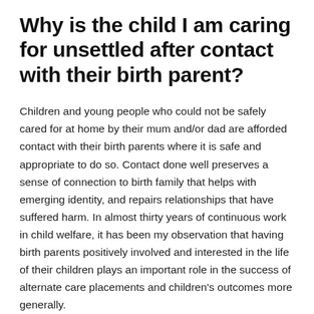Why is the child I am caring for unsettled after contact with their birth parent?
Children and young people who could not be safely cared for at home by their mum and/or dad are afforded contact with their birth parents where it is safe and appropriate to do so. Contact done well preserves a sense of connection to birth family that helps with emerging identity, and repairs relationships that have suffered harm. In almost thirty years of continuous work in child welfare, it has been my observation that having birth parents positively involved and interested in the life of their children plays an important role in the success of alternate care placements and children's outcomes more generally.
Nevertheless, many children are reported by their